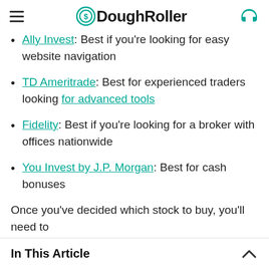DoughRoller
Ally Invest: Best if you're looking for easy website navigation
TD Ameritrade: Best for experienced traders looking for advanced tools
Fidelity: Best if you're looking for a broker with offices nationwide
You Invest by J.P. Morgan: Best for cash bonuses
Once you've decided which stock to buy, you'll need to
In This Article